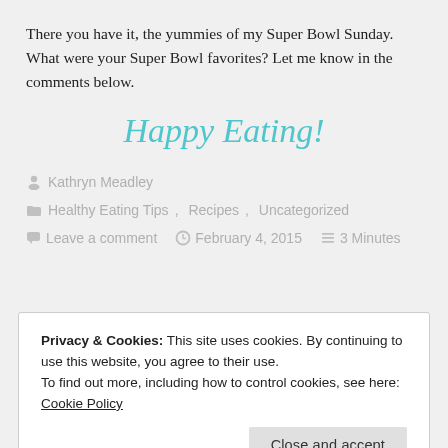There you have it, the yummies of my Super Bowl Sunday. What were your Super Bowl favorites? Let me know in the comments below.
Happy Eating!
Kathryn Meadley
Healthy Eating Tips, Recipes, Uncategorized
Leave a comment   February 4, 2015   3 Minutes
Privacy & Cookies: This site uses cookies. By continuing to use this website, you agree to their use.
To find out more, including how to control cookies, see here: Cookie Policy
Close and accept
exhausted now but it was well worth it. I will be sure to give you a